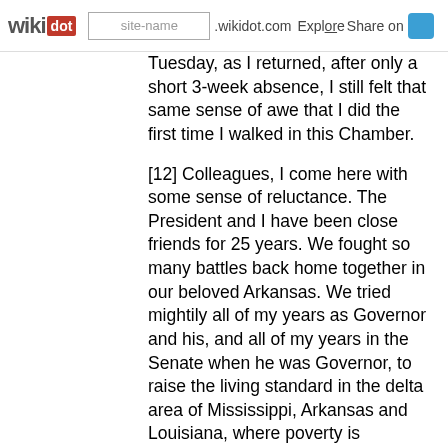wikidot | site-name .wikidot.com | Explore | Share on
Tuesday, as I returned, after only a short 3-week absence, I still felt that same sense of awe that I did the first time I walked in this Chamber.
[12] Colleagues, I come here with some sense of reluctance. The President and I have been close friends for 25 years. We fought so many battles back home together in our beloved Arkansas. We tried mightily all of my years as Governor and his, and all of my years in the Senate when he was Governor, to raise the living standard in the delta area of Mississippi, Arkansas and Louisiana, where poverty is unspeakable, with some measure of success; not nearly enough.